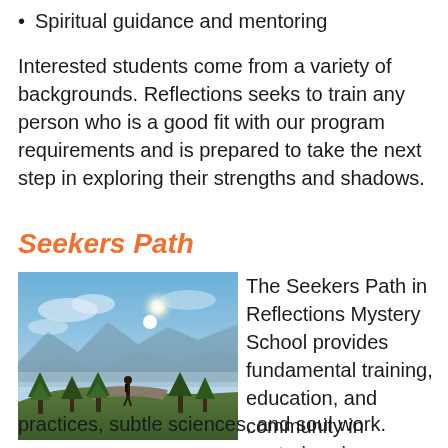Spiritual guidance and mentoring
Interested students come from a variety of backgrounds. Reflections seeks to train any person who is a good fit with our program requirements and is prepared to take the next step in exploring their strengths and shadows.
Seekers Path
[Figure (photo): A person with a backpack standing on a rocky hilltop surrounded by evergreen trees, with a bright sun and blue sky with clouds in the background, overlooking a misty mountain valley.]
The Seekers Path in Reflections Mystery School provides fundamental training, education, and community in esoteric sciences, shamanic practices, subtle sciences, and soul work.